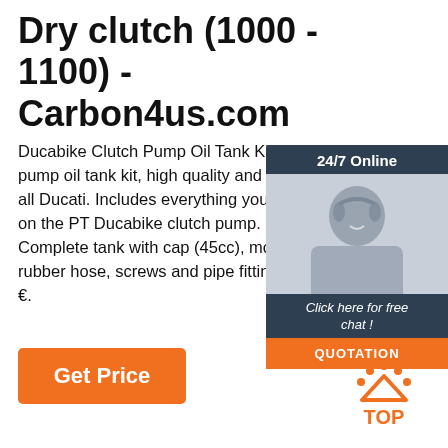Dry clutch (1000 - 1100) - Carbon4us.com
Ducabike Clutch Pump Oil Tank Kit. Ducabike clutch pump oil tank kit, high quality and easy a all Ducati. Includes everything you need on the PT Ducabike clutch pump. Kit com Complete tank with cap (45cc), mounting rubber hose, screws and pipe fittings. 44 €.
[Figure (screenshot): 24/7 Online chat widget with photo of woman wearing headset, 'Click here for free chat!' text and orange QUOTATION button]
[Figure (infographic): Orange 'Get Price' button]
[Figure (logo): TOP arrow logo in orange with dots]